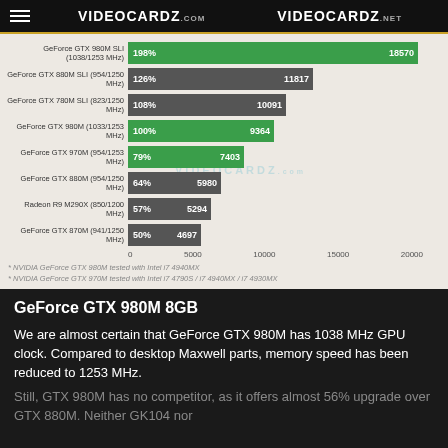VIDEOCARDZ.com  VIDEOCARDZ.net
[Figure (bar-chart): GPU Benchmark Comparison]
GeForce GTX 980M 8GB
We are almost certain that GeForce GTX 980M has 1038 MHz GPU clock. Compared to desktop Maxwell parts, memory speed has been reduced to 1253 MHz.
Still, GTX 980M has no competitor, as it offers almost 56% upgrade over GTX 880M. Neither GK104 nor ...